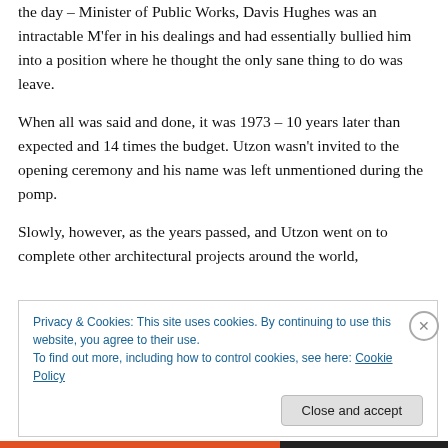the day – Minister of Public Works, Davis Hughes was an intractable M'fer in his dealings and had essentially bullied him into a position where he thought the only sane thing to do was leave.
When all was said and done, it was 1973 – 10 years later than expected and 14 times the budget. Utzon wasn't invited to the opening ceremony and his name was left unmentioned during the pomp.
Slowly, however, as the years passed, and Utzon went on to complete other architectural projects around the world,
Privacy & Cookies: This site uses cookies. By continuing to use this website, you agree to their use.
To find out more, including how to control cookies, see here: Cookie Policy